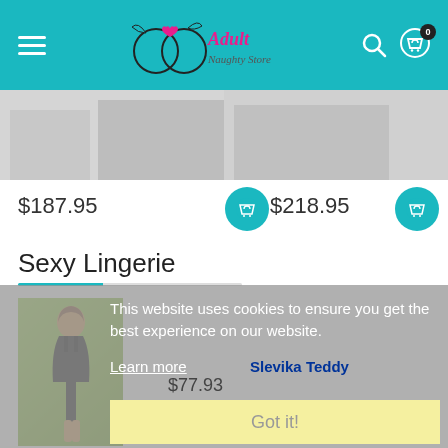[Figure (logo): Adult Naughty Store logo with teal background header, hamburger menu, search icon, and cart icon with badge 0]
[Figure (photo): Two product images partially cropped at top, showing silver/white lingerie items]
$187.95
$218.95
Sexy Lingerie
This website uses cookies to ensure you get the best experience on our website.
Learn more
Slevika Teddy
[Figure (photo): Woman wearing black lingerie teddy on yellow-green background]
$77.93
Got it!